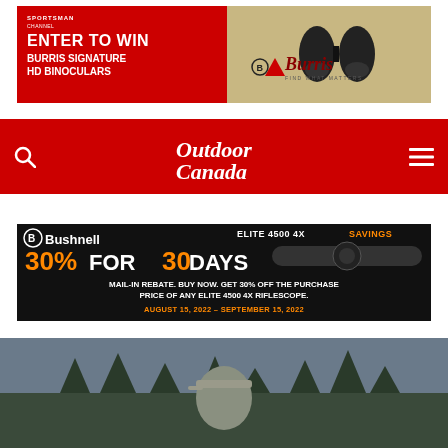[Figure (screenshot): Sportsman Channel / Burris Binoculars advertisement banner. Red left half with text: ENTER TO WIN BURRIS SIGNATURE HD BINOCULARS. Tan/gold right half with Burris logo and binoculars image.]
[Figure (logo): Outdoor Canada magazine red navigation bar with search icon on left, Outdoor Canada logo in center (white script), hamburger menu on right.]
[Figure (screenshot): Bushnell advertisement: ELITE 4500 4X SAVINGS. 30% FOR 30 DAYS. MAIL-IN REBATE. BUY NOW. GET 30% OFF THE PURCHASE PRICE OF ANY ELITE 4500 4X RIFLESCOPE. AUGUST 15, 2022 - SEPTEMBER 15, 2022]
[Figure (photo): Partial photo at bottom of page showing a person wearing a cap outdoors with trees/landscape in background.]